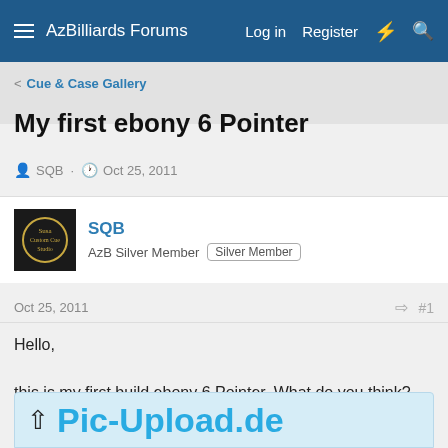AzBilliards Forums  Log in  Register
< Cue & Case Gallery
My first ebony 6 Pointer
SQB · Oct 25, 2011
SQB
AzB Silver Member  Silver Member
Oct 25, 2011  #1
Hello,

this is my first build ebony 6 Pointer. What do you think?
[Figure (screenshot): Pic-Upload.de logo/link area with upward arrow icon]